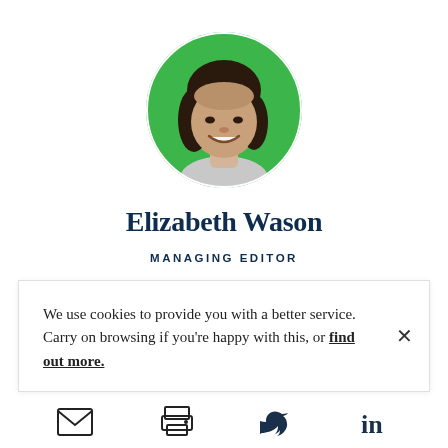[Figure (photo): Circular profile photo of Elizabeth Wason on a green background, showing a smiling woman with dark hair]
Elizabeth Wason
MANAGING EDITOR
We use cookies to provide you with a better service. Carry on browsing if you're happy with this, or find out more.
[Figure (other): Social sharing icon bar with email, print, Twitter, and LinkedIn icons]